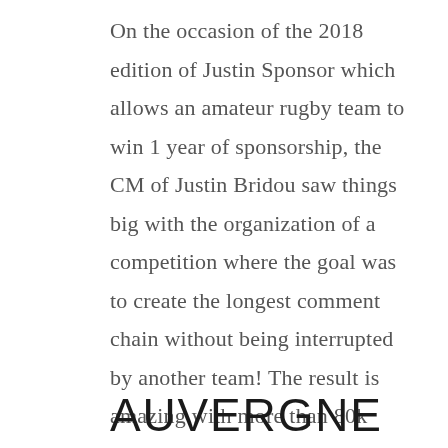On the occasion of the 2018 edition of Justin Sponsor which allows an amateur rugby team to win 1 year of sponsorship, the CM of Justin Bridou saw things big with the organization of a competition where the goal was to create the longest comment chain without being interrupted by another team! The result is amazing with more than 80k comments generated!
AUVERGNE